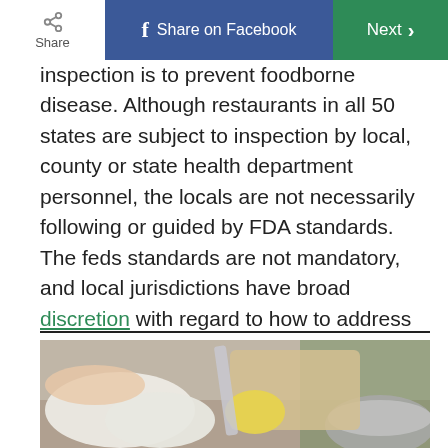Share | Share on Facebook | Next
inspection is to prevent foodborne disease. Although restaurants in all 50 states are subject to inspection by local, county or state health department personnel, the locals are not necessarily following or guided by FDA standards. The feds standards are not mandatory, and local jurisdictions have broad discretion with regard to how to address restaurant safety.
[Figure (photo): Hands wearing white rubber gloves washing or cutting a lemon/yellow fruit near a stainless steel bowl in a kitchen setting]